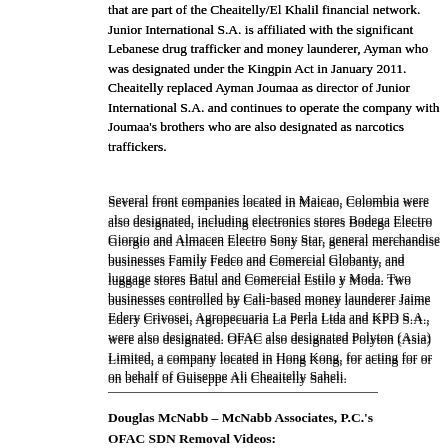that are part of the Cheaitelly/El Khalil financial network. Junior International S.A. is affiliated with the significant Lebanese drug trafficker and money launderer, Ayman who was designated under the Kingpin Act in January 2011. Cheaitelly replaced Ayman Joumaa as director of Junior International S.A. and continues to operate the company with Joumaa's brothers who are also designated as narcotics traffickers.
Several front companies located in Maicao, Colombia were also designated, including electronics stores Bodega Electro Giorgio and Almacen Electro Sony Star, general merchandise businesses Family Fedco and Comercial Globanty, and luggage stores Batul and Comercial Estilo y Moda. Two businesses controlled by Cali-based money launderer Jaime Edery Crivosei, Agropecuaria La Perla Ltda and KPD S.A., were also designated. OFAC also designated Polyton (Asia) Limited, a company located in Hong Kong, for acting for or on behalf of Guiseppe Ali Cheaitelly Saheli.
Today's action is part of the Treasury Department's ongoing efforts pursuant to the Kingpin Act to target the financial networks of significant foreign narcotics traffickers and their organizations worldwide. The Treasury Department has designated more than 1,000 individuals and entities linked to drug kingpins since June 2000. Penalties for violating the Kingpin Act range from civil penalties of up to $1.075 million per violation to more severe criminal penalties. Criminal penalties for corporate officers may include up to 30 years in prison and fines up to $5 million. Criminal fines for corporations may reach $10 million. Other individuals face up to 10 years in prison and fines pursuant to Title 18 United States Code for criminal violations of the Kingpin Act."
Douglas McNabb – McNabb Associates, P.C.'s
OFAC SDN Removal Videos: